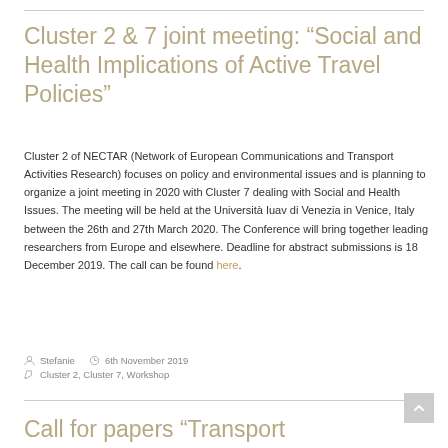Cluster 2 & 7 joint meeting: “Social and Health Implications of Active Travel Policies”
Cluster 2 of NECTAR (Network of European Communications and Transport Activities Research) focuses on policy and environmental issues and is planning to organize a joint meeting in 2020 with Cluster 7 dealing with Social and Health Issues. The meeting will be held at the Università Iuav di Venezia in Venice, Italy between the 26th and 27th March 2020. The Conference will bring together leading researchers from Europe and elsewhere. Deadline for abstract submissions is 18 December 2019. The call can be found here.
Stefanie   6th November 2019
Cluster 2, Cluster 7, Workshop
Call for papers “Transport